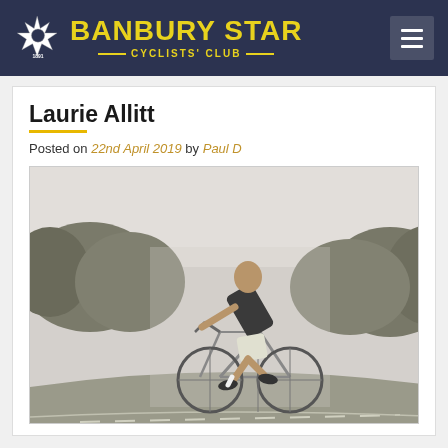BANBURY STAR CYCLISTS' CLUB
Laurie Allitt
Posted on 22nd April 2019 by Paul D
[Figure (photo): Black and white photograph of a male cyclist racing on a road bicycle, leaning forward in an aerodynamic position, wearing a dark short-sleeve jersey and white shorts, trees and road visible in the background, motion blur effect.]